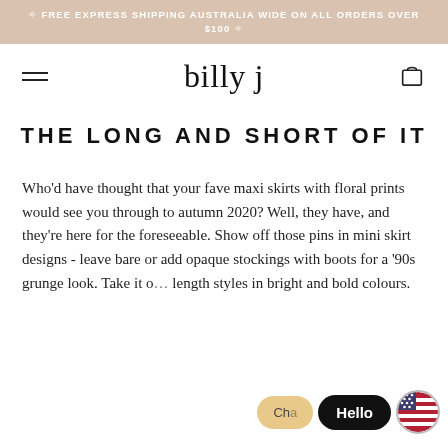FREE EXPRESS SHIPPING AUSTRALIA WIDE ON ALL ORDERS OVER $100
billy j
THE LONG AND SHORT OF IT
Who'd have thought that your fave maxi skirts with floral prints would see you through to autumn 2020? Well, they have, and they're here for the foreseeable. Show off those pins in mini skirt designs - leave bare or add opaque stockings with boots for a '90s grunge look. Take it o… length styles in bright and bold colours.